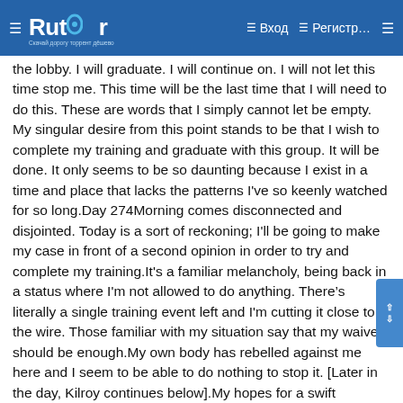Rutor | Вход | Регистр...
the lobby. I will graduate. I will continue on. I will not let this time stop me. This time will be the last time that I will need to do this. These are words that I simply cannot let be empty. My singular desire from this point stands to be that I wish to complete my training and graduate with this group. It will be done. It only seems to be so daunting because I exist in a time and place that lacks the patterns I've so keenly watched for so long.Day 274Morning comes disconnected and disjointed. Today is a sort of reckoning; I'll be going to make my case in front of a second opinion in order to try and complete my training.It's a familiar melancholy, being back in a status where I'm not allowed to do anything. There's literally a single training event left and I'm cutting it close to the wire. Those familiar with my situation say that my waiver should be enough.My own body has rebelled against me here and I seem to be able to do nothing to stop it. [Later in the day, Kilroy continues below].My hopes for a swift correction at the urgent care clinic were dashed, with the given explanation being that they could not override the profile I was previously given. They made a recommendation to return to the TMC and try my luck there. Returning to the TMC, [Troo